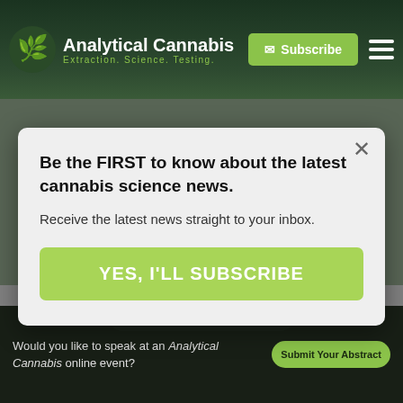Analytical Cannabis — Extraction, Science, Testing
Be the FIRST to know about the latest cannabis science news.
Receive the latest news straight to your inbox.
YES, I'LL SUBSCRIBE
You May Also Like
Advertisement
Would you like to speak at an Analytical Cannabis online event?
Submit Your Abstract